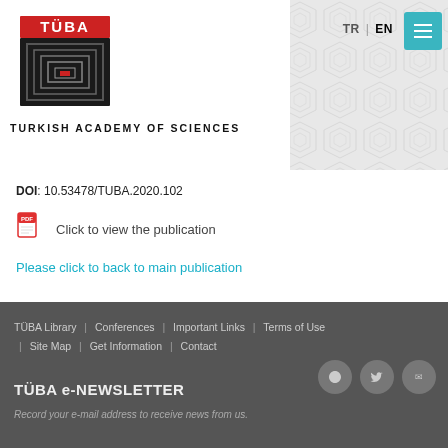[Figure (logo): TÜBA Turkish Academy of Sciences logo with geometric pattern header background]
DOI: 10.53478/TUBA.2020.102
Click to view the publication
Please click to back to main publication
TÜBA Library | Conferences | Important Links | Terms of Use | Site Map | Get Information | Contact
TÜBA e-NEWSLETTER
Record your e-mail address to receive news from us.